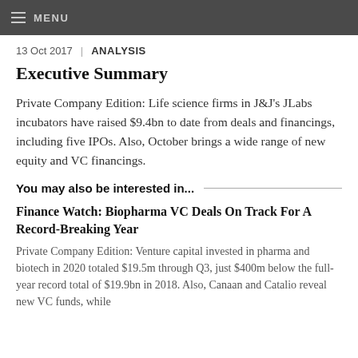MENU
13 Oct 2017 | ANALYSIS
Executive Summary
Private Company Edition: Life science firms in J&J's JLabs incubators have raised $9.4bn to date from deals and financings, including five IPOs. Also, October brings a wide range of new equity and VC financings.
You may also be interested in...
Finance Watch: Biopharma VC Deals On Track For A Record-Breaking Year
Private Company Edition: Venture capital invested in pharma and biotech in 2020 totaled $19.5m through Q3, just $400m below the full-year record total of $19.9bn in 2018. Also, Canaan and Catalio reveal new VC funds, while